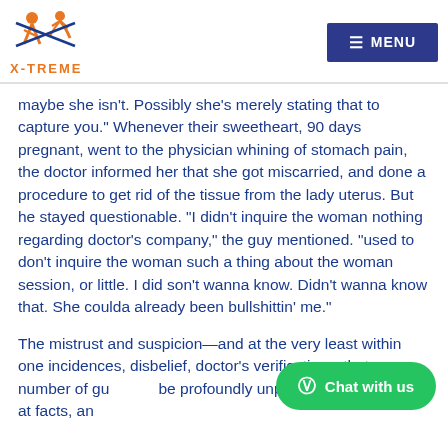X-TREME | MENU
maybe she isn't. Possibly she's merely stating that to capture you." Whenever their sweetheart, 90 days pregnant, went to the physician whining of stomach pain, the doctor informed her that she got miscarried, and done a procedure to get rid of the tissue from the lady uterus. But he stayed questionable. “I didn’t inquire the woman nothing regarding doctor’s company,” the guy mentioned. “used to don’t inquire the woman such a thing about the woman session, or little. I did son’t wanna know. Didn’t wanna know that. She coulda already been bullshittin’ me.”
The mistrust and suspicion—and at the very least within one incidences, disbelief, despite a doctor’s verification—that a number of gu... be profoundly unpleasant. In this look at facts, an